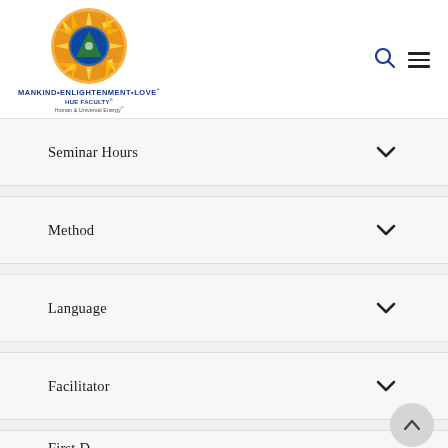[Figure (logo): Mankind Enlightenment Love HUE Faculty logo — circular mandala in orange and gold with blue-green center triangle, text below: MANKIND•ENLIGHTENMENT•LOVE®, HUE FACULTY®, Human & Universal Energy®]
Seminar Hours
Method
Language
Facilitator
First D...